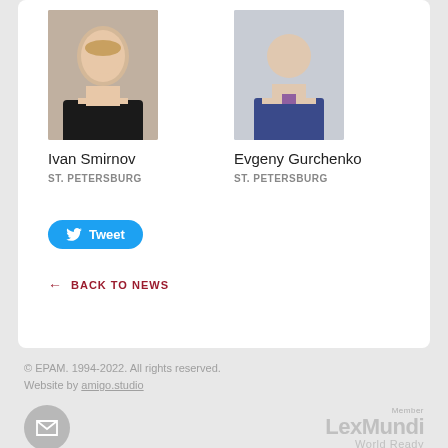[Figure (photo): Headshot of Ivan Smirnov, man in black suit]
Ivan Smirnov
ST. PETERSBURG
[Figure (photo): Headshot of Evgeny Gurchenko, man in blue suit]
Evgeny Gurchenko
ST. PETERSBURG
[Figure (other): Tweet button with Twitter bird icon]
← BACK TO NEWS
© EPAM. 1994-2022. All rights reserved.
Website by amigo.studio